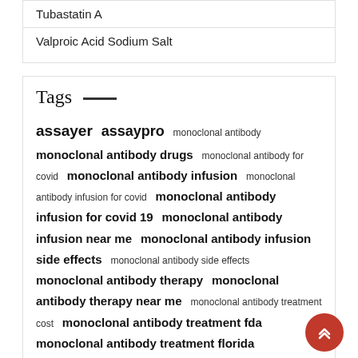Tubastatin A
Valproic Acid Sodium Salt
Tags
assayer  assaypro  monoclonal antibody  monoclonal antibody drugs  monoclonal antibody for covid  monoclonal antibody infusion  monoclonal antibody infusion for covid  monoclonal antibody infusion for covid 19  monoclonal antibody infusion near me  monoclonal antibody infusion side effects  monoclonal antibody side effects  monoclonal antibody therapy  monoclonal antibody therapy near me  monoclonal antibody treatment cost  monoclonal antibody treatment fda  monoclonal antibody treatment florida  monoclonal antibody treatment for covid-19  monoclonal antibody treatment locations  monoclonal antibody treatment miami